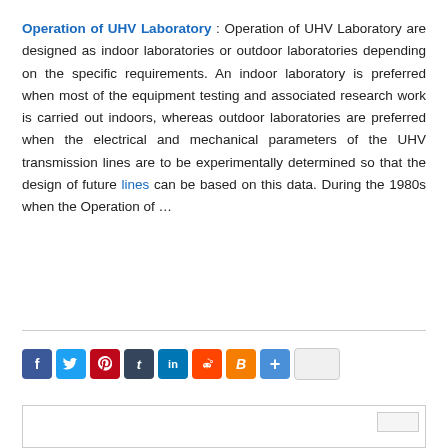Operation of UHV Laboratory : Operation of UHV Laboratory are designed as indoor laboratories or outdoor laboratories depending on the specific requirements. An indoor laboratory is preferred when most of the equipment testing and associated research work is carried out indoors, whereas outdoor laboratories are preferred when the electrical and mechanical parameters of the UHV transmission lines are to be experimentally determined so that the design of future lines can be based on this data. During the 1980s when the Operation of …
[Figure (infographic): Social sharing buttons: Facebook, Twitter, Pinterest, Tumblr, LinkedIn, Reddit, Blogger, More, and a blank button]